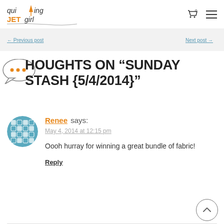quilting JETgirl — navigation bar with cart and menu icons
THOUGHTS ON “SUNDAY STASH {5/4/2014}”
Renee says:
May 4, 2014 at 12:15 pm
Oooh hurray for winning a great bundle of fabric!
Reply